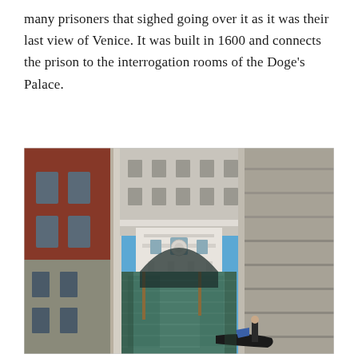many prisoners that sighed going over it as it was their last view of Venice. It was built in 1600 and connects the prison to the interrogation rooms of the Doge's Palace.
[Figure (photo): A canal view in Venice showing the Bridge of Sighs — a white ornate enclosed arch bridge spanning a narrow canal between two historic stone buildings. On the left is a red-brick and stone building (the Doge's Palace), on the right is a grey stone building (the prison). The bridge is decorated with baroque architectural details. Below the bridge, the green canal water is visible, and at the bottom right a gondola with a gondolier holding a blue flag can be seen. The sky above is clear blue.]